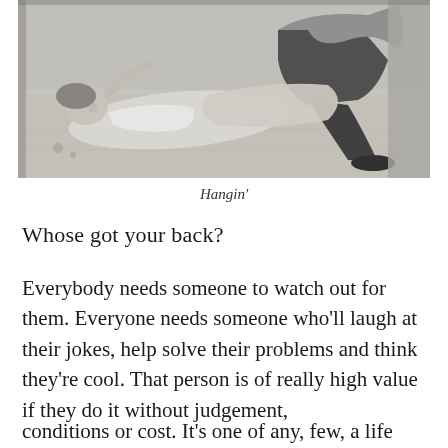[Figure (photo): Black and white photograph of a child lying on the floor looking up, with an adult sitting nearby. The child appears relaxed, resting on a wooden floor.]
Hangin'
Whose got your back?
Everybody needs someone to watch out for them. Everyone needs someone who'll laugh at their jokes, help solve their problems and think they're cool. That person is of really high value if they do it without judgement,
conditions or cost. It's one of any, few, a life